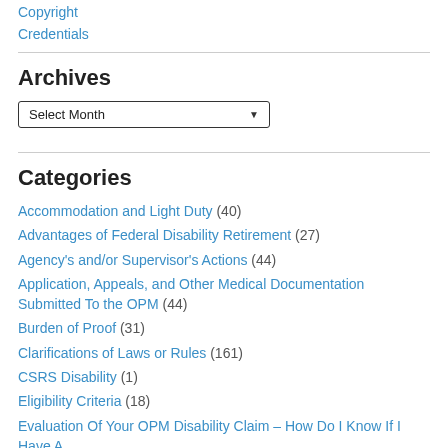Copyright
Credentials
Archives
[Figure (other): A dropdown select box labeled 'Select Month' with a downward arrow indicator]
Categories
Accommodation and Light Duty (40)
Advantages of Federal Disability Retirement (27)
Agency's and/or Supervisor's Actions (44)
Application, Appeals, and Other Medical Documentation Submitted To the OPM (44)
Burden of Proof (31)
Clarifications of Laws or Rules (161)
CSRS Disability (1)
Eligibility Criteria (18)
Evaluation Of Your OPM Disability Claim – How Do I Know If I Have A